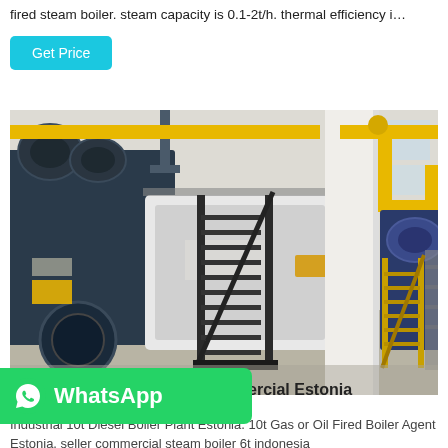fired steam boiler. steam capacity is 0.1-2t/h. thermal efficiency i…
Get Price
[Figure (photo): Industrial boiler room with large dark blue and white steam boilers, metal access staircases, yellow overhead piping, and concrete flooring in a factory setting.]
[Figure (logo): WhatsApp green button bar with phone icon and WhatsApp text]
ercial Estonia
Industrial 10t Diesel Boiler Plant Estonia. 10t Gas or Oil Fired Boiler Agent Estonia. seller commercial steam boiler 6t indonesia